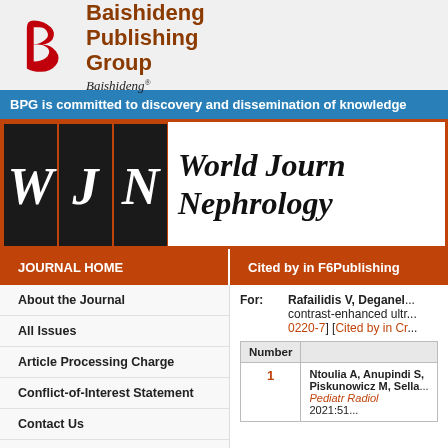[Figure (logo): Baishideng Publishing Group logo with red stylized 'B' icon and calligraphic 'Baishideng' text]
Baishideng Publishing Group
BPG is committed to discovery and dissemination of knowledge
[Figure (logo): World Journal of Nephrology journal header with WJN letters in black boxes and italic journal name]
JOURNAL HOME
Cited by in F6Publishing
About the Journal
All Issues
Article Processing Charge
Conflict-of-Interest Statement
Contact Us
Copyright License Agreement
For: Rafailidis V, Deganel... contrast-enhanced ultr... 0220-7] [Cited by in Cr...
| Number |  |
| --- | --- |
| 1 | Ntoulia A, Anupindi S, Piskunowicz M, Sella... Pediatr Radiol 2021:51... |